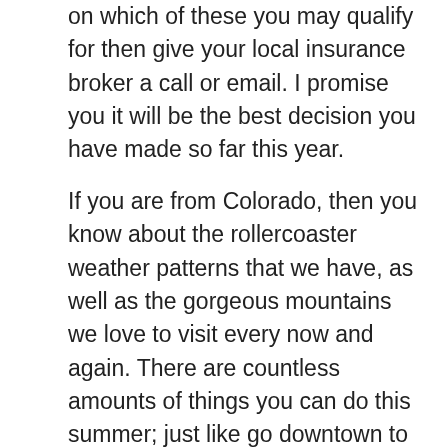on which of these you may qualify for then give your local insurance broker a call or email.  I promise you it will be the best decision you have made so far this year.
If you are from Colorado, then you know about the rollercoaster weather patterns that we have, as well as the gorgeous mountains we love to visit every now and again.  There are countless amounts of things you can do this summer; just like go downtown to Coors Field to see your Rockies play on opening day.  Go to the lake in your lovely boat, take a family picnic, go swimming, hiking or even bike riding.  The amount of adventures waiting for you are endless! Let your mind wonder and discover something new.  Since the weather will continue to get warmer with lovely blue skies, you may feel an urge to take a ride on your motorcycle but may not have the right insurance, or